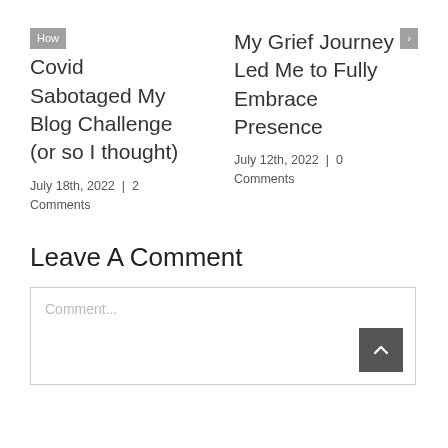How Covid Sabotaged My Blog Challenge (or so I thought)
July 18th, 2022 | 2 Comments
My Grief Journey Led Me to Fully Embrace Presence
July 12th, 2022 | 0 Comments
Leave A Comment
Comment...